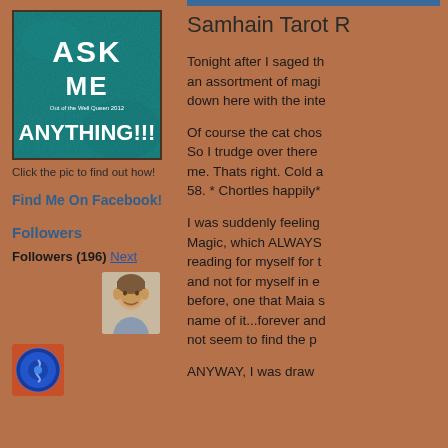[Figure (illustration): Teal textured background image with white text reading ASK ME ANYTHING!!! and small text 'Out of the Well Queen 2012']
Click the pic to find out how!
Find Me On Facebook!
Followers
Followers (196) Next
[Figure (photo): Avatar photo of a person (follower)]
[Figure (illustration): Blue circular avatar with symbol]
Samhain Tarot R
Tonight after I saged th an assortment of magi down here with the inte
Of course the cat chos So I trudge over there me. Thats right. Cold a 58. * Chortles happily*
I was suddenly feeling Magic, which ALWAYS reading for myself for t and not for myself in e before, one that Maia s name of it...forever and not seem to find the p
ANYWAY, I was draw